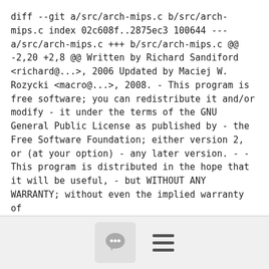diff --git a/src/arch-mips.c b/src/arch-mips.c
index 02c608f..2875ec3 100644
--- a/src/arch-mips.c
+++ b/src/arch-mips.c
@@ -2,20 +2,8 @@
   Written by Richard Sandiford <richard@...>, 2006
   Updated by Maciej W. Rozycki <macro@...>, 2008.

-   This program is free software; you can redistribute it and/or modify
-   it under the terms of the GNU General Public License as published by
-   the Free Software Foundation; either version 2, or (at your option)
-   any later version.
-
-   This program is distributed in the hope that it will be useful,
-   but WITHOUT ANY WARRANTY; without even the implied warranty of
[Figure (other): Bottom navigation bar with a comment/chat bubble button and a hamburger menu icon]